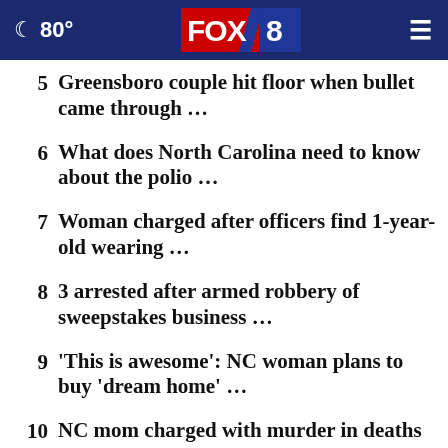80° FOX 8
5  Greensboro couple hit floor when bullet came through …
6  What does North Carolina need to know about the polio …
7  Woman charged after officers find 1-year-old wearing …
8  3 arrested after armed robbery of sweepstakes business …
9  'This is awesome': NC woman plans to buy 'dream home' …
10  NC mom charged with murder in deaths of 2 young daughters, …